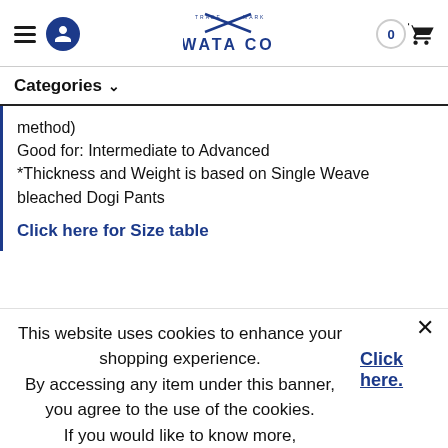IWATA CO. — navigation header with hamburger menu, user icon, logo, and cart
Categories ✓
method)
Good for: Intermediate to Advanced
*Thickness and Weight is based on Single Weave bleached Dogi Pants
Click here for Size table
This website uses cookies to enhance your shopping experience.
By accessing any item under this banner, you agree to the use of the cookies.
If you would like to know more,
Click here.